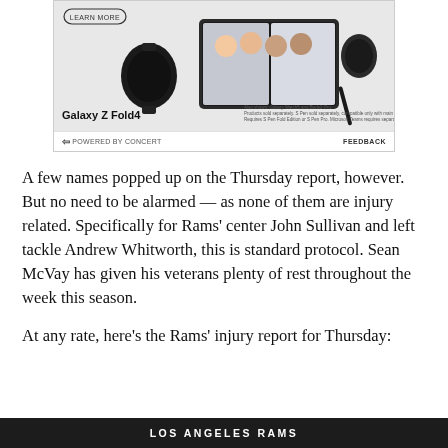[Figure (other): Samsung Galaxy Z Fold4 advertisement showing the phone, a Galaxy Watch, earbuds, and a stylus, with a 'LEARN MORE' button. Text reads 'Galaxy Z Fold4' with small disclaimer text.]
POWERED BY CONCERT    FEEDBACK
A few names popped up on the Thursday report, however. But no need to be alarmed — as none of them are injury related. Specifically for Rams' center John Sullivan and left tackle Andrew Whitworth, this is standard protocol. Sean McVay has given his veterans plenty of rest throughout the week this season.
At any rate, here's the Rams' injury report for Thursday:
LOS ANGELES RAMS